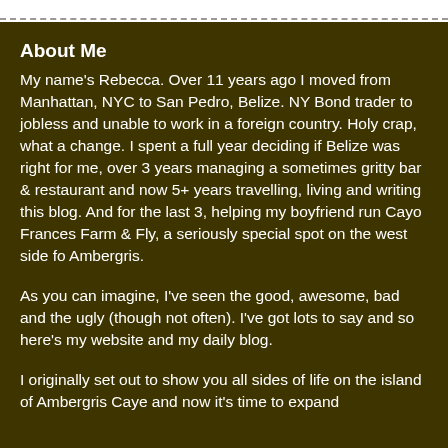About Me
My name's Rebecca.  Over 11 years ago  I moved from Manhattan, NYC to San Pedro, Belize.   NY Bond trader to jobless and unable to work in a foreign country.  Holy crap, what a change. I spent a full year deciding if Belize was right for me, over 3 years managing a sometimes gritty bar & restaurant and now 5+ years travelling, living and writing this blog.  And for the last 3, helping my boyfriend run Cayo Frances Farm & Fly, a seriously special spot on the west side fo Ambergris.
As you can imagine, I've seen the good, awesome, bad and the ugly (though not often). I've got lots to say and so here's my website and my daily blog.
I originally set out to show you all sides of life on the island of Ambergris Caye and now it's time to expand